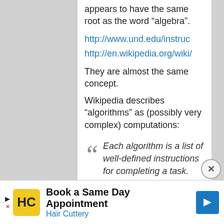appears to have the same root as the word “algebra”.
http://www.und.edu/instruc
http://en.wikipedia.org/wiki/
They are almost the same concept.
Wikipedia describes “algorithms” as (possibly very complex) computations:
Each algorithm is a list of well-defined instructions for completing a task. Starting from an initial state, the instructions describe a
Book a Same Day Appointment
Hair Cuttery